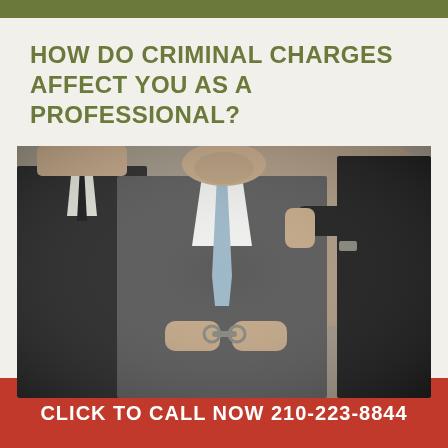HOW DO CRIMINAL CHARGES AFFECT YOU AS A PROFESSIONAL?
[Figure (photo): Three men in suits, the center man wearing handcuffs, being detained by two others flanking him in a professional setting.]
CLICK TO CALL NOW 210-223-8844